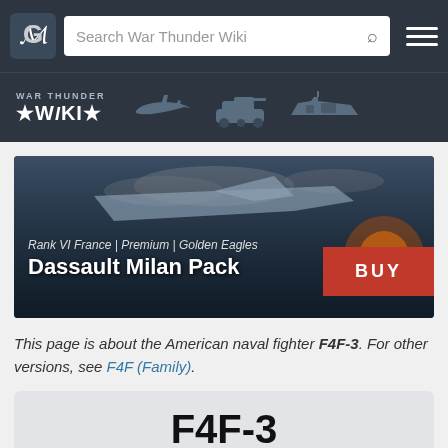Search War Thunder Wiki
[Figure (screenshot): War Thunder Wiki navigation header with logo, search bar, and military vehicle silhouette icons (plane, tank, ship)]
[Figure (photo): Advertisement banner for Dassault Milan Pack - Rank VI France | Premium | Golden Eagles - showing fighter jet with BUY button]
This page is about the American naval fighter F4F-3. For other versions, see F4F (Family).
F4F-3
F2A-3   F4F-4